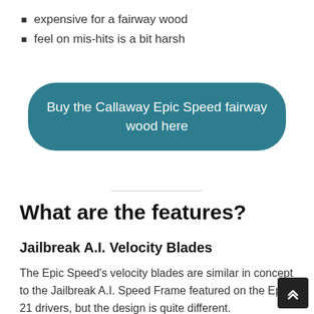expensive for a fairway wood
feel on mis-hits is a bit harsh
Buy the Callaway Epic Speed fairway wood here
What are the features?
Jailbreak A.I. Velocity Blades
The Epic Speed's velocity blades are similar in concept to the Jailbreak A.I. Speed Frame featured on the Epic 21 drivers, but the design is quite different.